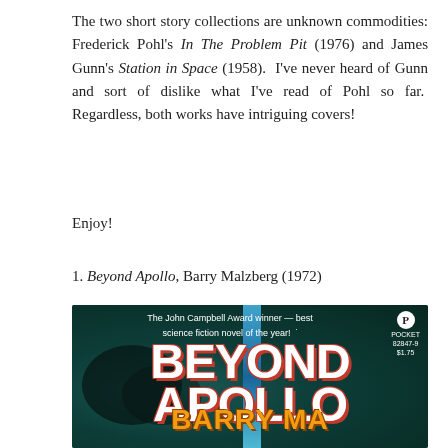The two short story collections are unknown commodities: Frederick Pohl's In The Problem Pit (1976) and James Gunn's Station in Space (1958). I've never heard of Gunn and sort of dislike what I've read of Pohl so far. Regardless, both works have intriguing covers!
Enjoy!
1. Beyond Apollo, Barry Malzberg (1972)
[Figure (photo): Book cover of 'Beyond Apollo' by Barry Malzberg. Teal/space background with a vertical blue beam. Top text reads 'The John Campbell Award winner — best science fiction novel of the year!' with a Pocket Books logo (82847-9, $1.75) in the upper right. Large bold white and red letters spell 'BEYOND APOLLO' and partially visible author name at bottom in orange.]